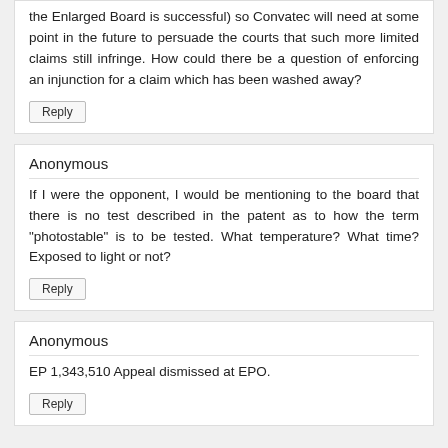the Enlarged Board is successful) so Convatec will need at some point in the future to persuade the courts that such more limited claims still infringe. How could there be a question of enforcing an injunction for a claim which has been washed away?
Reply
Anonymous
If I were the opponent, I would be mentioning to the board that there is no test described in the patent as to how the term "photostable" is to be tested. What temperature? What time? Exposed to light or not?
Reply
Anonymous
EP 1,343,510 Appeal dismissed at EPO.
Reply